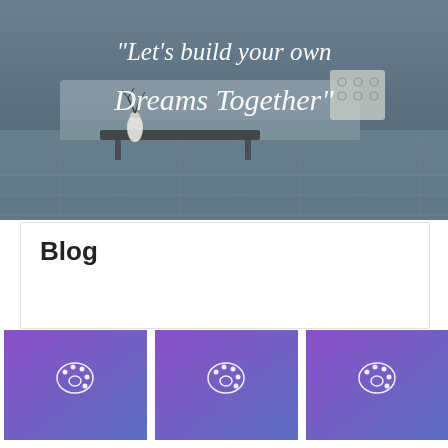[Figure (photo): Hero image of a modern living room interior with tiled floor, sofa with patterned pillow, and a dark coffee table with a vase. Overlaid with italic white script text quote.]
"Let's build your own Dreams Together"
Blog
[Figure (illustration): Purple to blue gradient card with a white paint palette icon in center]
WHAT TO LOOK FOR IN AN...
[Figure (illustration): Purple to blue gradient card with a white paint palette icon in center]
CASINO BONUS – FACT OR...
[Figure (illustration): Purple to blue gradient card with a white paint palette icon in center]
ONLINE POKER SUCC...